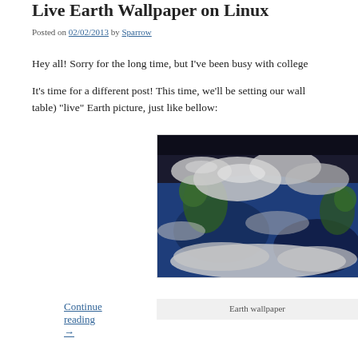Live Earth Wallpaper on Linux
Posted on 02/02/2013 by Sparrow
Hey all! Sorry for the long time, but I've been busy with college
It's time for a different post! This time, we'll be setting our wall table) "live" Earth picture, just like bellow:
[Figure (photo): Satellite image of Earth showing cloud cover, blue ocean, and green landmasses]
Earth wallpaper
Continue reading →